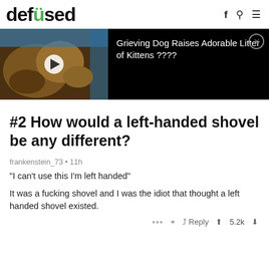defüsed
[Figure (screenshot): Ad banner showing a video thumbnail of a dog with kittens on the left (with play button), and text on black background: 'Grieving Dog Raises Adorable Litter of Kittens ????' with a close button]
#2 How would a left-handed shovel be any different?
frankenstein_73 • 11h
"I can't use this I'm left handed"
It was a fucking shovel and I was the idiot that thought a left handed shovel existed.
... Reply 5.2k